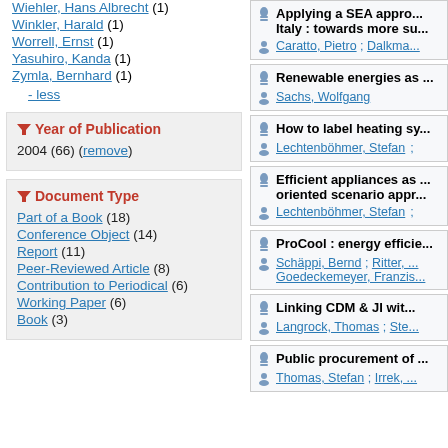Wiehler, Hans Albrecht (1)
Winkler, Harald (1)
Worrell, Ernst (1)
Yasuhiro, Kanda (1)
Zymla, Bernhard (1)
- less
Year of Publication
2004 (66) (remove)
Document Type
Part of a Book (18)
Conference Object (14)
Report (11)
Peer-Reviewed Article (8)
Contribution to Periodical (6)
Working Paper (6)
Book (3)
Applying a SEA appro... Italy : towards more su...
Caratto, Pietro ; Dalkma...
Renewable energies as ...
Sachs, Wolfgang
How to label heating sy...
Lechtenböhmer, Stefan ;
Efficient appliances as ... oriented scenario appr...
Lechtenböhmer, Stefan ;
ProCool : energy efficie...
Schäppi, Bernd ; Ritter, ... Goedeckemeyer, Franzis...
Linking CDM & JI wit...
Langrock, Thomas ; Ste...
Public procurement of ...
Thomas, Stefan ; Irrek, ...